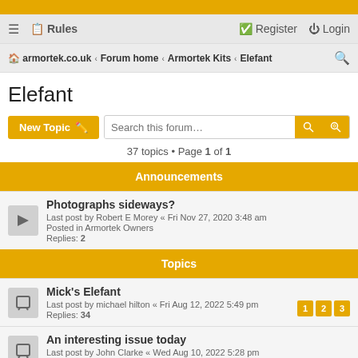armortek.co.uk › Forum home › Armortek Kits › Elefant
Elefant
37 topics • Page 1 of 1
Announcements
Photographs sideways? Last post by Robert E Morey « Fri Nov 27, 2020 3:48 am Posted in Armortek Owners Replies: 2
Topics
Mick's Elefant Last post by michael hilton « Fri Aug 12, 2022 5:49 pm Replies: 34
An interesting issue today Last post by John Clarke « Wed Aug 10, 2022 5:28 pm Replies: 11
Martin's Elefant